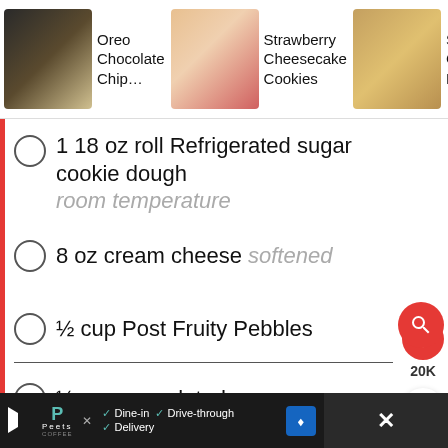[Figure (screenshot): Top navigation bar with three recipe thumbnails: Oreo Chocolate Chip..., Strawberry Cheesecake Cookies, Snickerdoo Cheesecake Bars]
1 18 oz roll Refrigerated sugar cookie dough room temperature
8 oz cream cheese softened
½ cup Post Fruity Pebbles
½ cup granulated sugar
1 egg room temperature
1 tsp vanilla extract
[Figure (screenshot): Bottom advertisement bar for Peets Coffee with Dine-in, Drive-through, Delivery options]